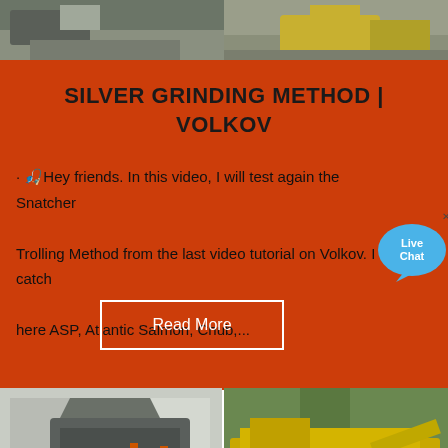[Figure (photo): Top strip showing construction/mining machinery and earthwork site]
SILVER GRINDING METHOD | VOLKOV
· 🎣Hey friends. In this video, I will test again the Snatcher Trolling Method from the last video tutorial on Volkov. I catch here ASP, Atlantic Salmon, Chub,...
[Figure (infographic): Live Chat speech bubble icon with 'x' close button]
Read More
[Figure (photo): Bottom grid of four photos showing industrial grinding and crushing machinery]
[Figure (photo): Industrial hammer mill crusher in a factory floor]
[Figure (photo): Yellow mobile crushing plant in a wooded area]
[Figure (photo): Red industrial processing machine frame outdoors]
[Figure (photo): Yellow crane or processing machinery against blue sky]